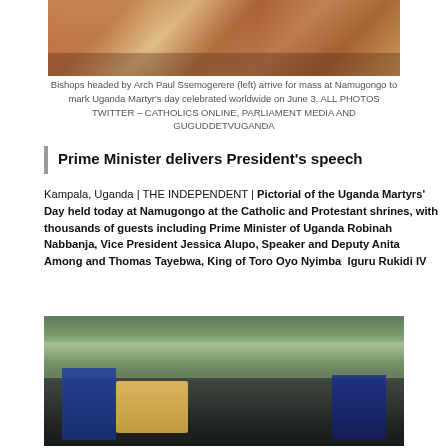[Figure (photo): Bishops headed by Arch Paul Ssemogerere (left) arrive for mass at Namugongo, partial view of top of image showing people in red and white robes]
Bishops headed by Arch Paul Ssemogerere (left) arrive for mass at Namugongo to mark Uganda Martyr's day celebrated worldwide on June 3. ALL PHOTOS TWITTER – CATHOLICS ONLINE, PARLIAMENT MEDIA AND GUGUDDETVUGANDA
Prime Minister delivers President's speech
Kampala, Uganda | THE INDEPENDENT | Pictorial of the Uganda Martyrs' Day held today at Namugongo at the Catholic and Protestant shrines, with thousands of guests including Prime Minister of Uganda Robinah Nabbanja, Vice President Jessica Alupo, Speaker and Deputy Anita Among and Thomas Tayebwa, King of Toro Oyo Nyimba  Iguru Rukidi IV
[Figure (photo): Large crowd at Uganda Martyrs' Day at Namugongo shrine, with people in foreground carrying items, flanked by officials in suits and masks]